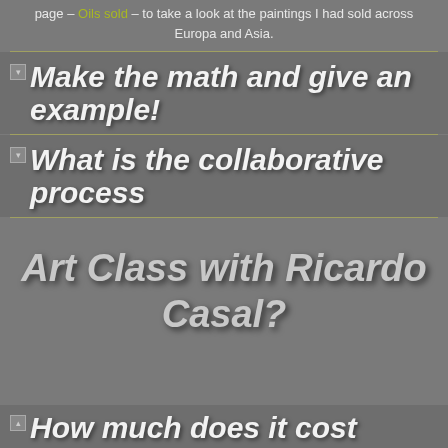page – Oils sold – to take a look at the paintings I had sold across Europa and Asia.
Make the math and give an example!
What is the collaborative process
Art Class with Ricardo Casal?
How much does it cost